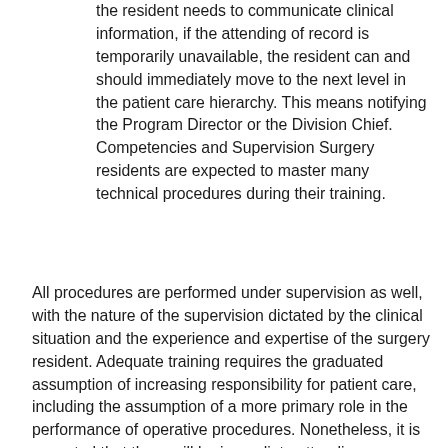the resident needs to communicate clinical information, if the attending of record is temporarily unavailable, the resident can and should immediately move to the next level in the patient care hierarchy. This means notifying the Program Director or the Division Chief. Competencies and Supervision Surgery residents are expected to master many technical procedures during their training.
All procedures are performed under supervision as well, with the nature of the supervision dictated by the clinical situation and the experience and expertise of the surgery resident. Adequate training requires the graduated assumption of increasing responsibility for patient care, including the assumption of a more primary role in the performance of operative procedures. Nonetheless, it is expected that there will be immediate attending supervision at the appropriate